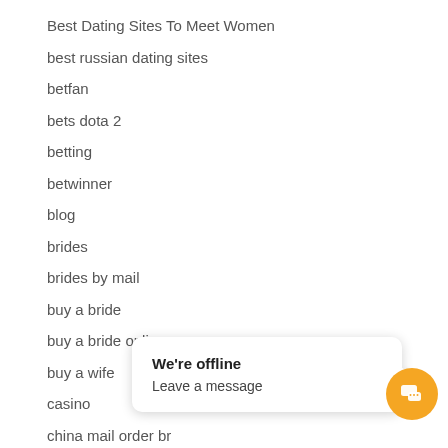Best Dating Sites To Meet Women
best russian dating sites
betfan
bets dota 2
betting
betwinner
blog
brides
brides by mail
buy a bride
buy a bride online
buy a wife
casino
china mail order br
chinese dating sites
We're offline
Leave a message